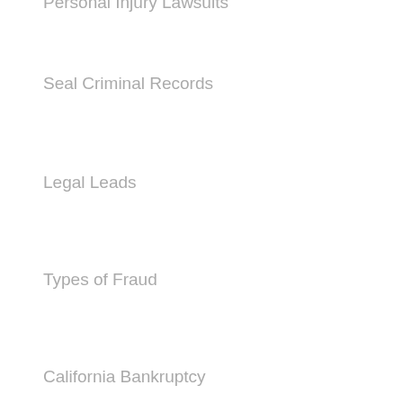Personal Injury Lawsuits
Seal Criminal Records
Legal Leads
Types of Fraud
California Bankruptcy
Retainer Agreement
Cash Flow Statement
Operating Cash Flow
Financial Authorization Letter
Last Will & Testament